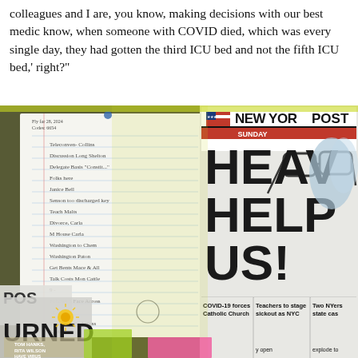colleagues and I are, you know, making decisions with our best medic know, when someone with COVID died, which was every single day, they had gotten the third ICU bed and not the fifth ICU bed,' right?
[Figure (photo): A bulletin board or desk surface showing a New York Post newspaper with the headline 'HEAVEN HELP US!' and subheadings 'COVID-19 forces Catholic Church', 'Teachers to stage sickout as NYC', 'Two NYers state cas... explode to...'. Also visible are handwritten notes on lined paper pinned up, glasses resting on the newspaper, another partially visible newspaper clipping reading 'URNED', a yellow-green folder or binder, and a pink sticky note at the bottom.]